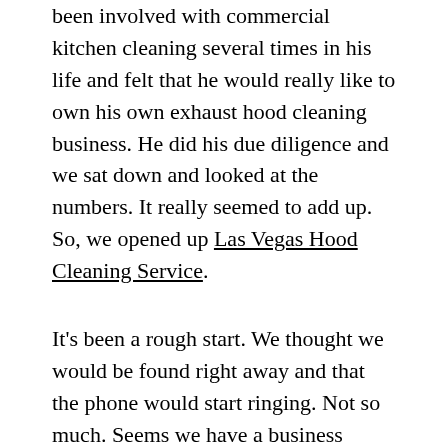been involved with commercial kitchen cleaning several times in his life and felt that he would really like to own his own exhaust hood cleaning business. He did his due diligence and we sat down and looked at the numbers. It really seemed to add up. So, we opened up Las Vegas Hood Cleaning Service.
It's been a rough start. We thought we would be found right away and that the phone would start ringing. Not so much. Seems we have a business obscurity problem. We are lost in a sea of small service businesses in Las Vegas. It's not like we're competing. There are plenty of competitors, but we're not competing because we're not even on the clients radar. So, we're upping our marketing campaign and we're going cold calling. Problem is, it's over 100 degrees nearly everyday, so going from restaurant to restaurant in hopes of meeting owners